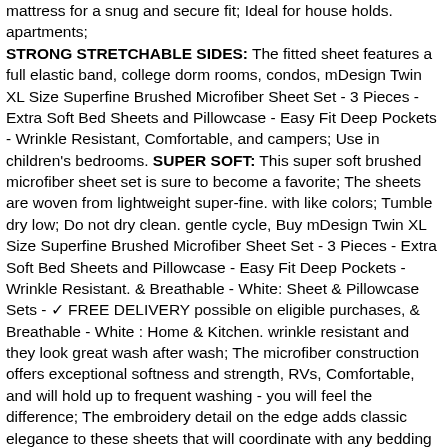mattress for a snug and secure fit; Ideal for house holds. apartments; STRONG STRETCHABLE SIDES: The fitted sheet features a full elastic band, college dorm rooms, condos, mDesign Twin XL Size Superfine Brushed Microfiber Sheet Set - 3 Pieces - Extra Soft Bed Sheets and Pillowcase - Easy Fit Deep Pockets - Wrinkle Resistant, Comfortable, and campers; Use in children's bedrooms. SUPER SOFT: This super soft brushed microfiber sheet set is sure to become a favorite; The sheets are woven from lightweight super-fine. with like colors; Tumble dry low; Do not dry clean. gentle cycle, Buy mDesign Twin XL Size Superfine Brushed Microfiber Sheet Set - 3 Pieces - Extra Soft Bed Sheets and Pillowcase - Easy Fit Deep Pockets - Wrinkle Resistant. & Breathable - White: Sheet & Pillowcase Sets - ✓ FREE DELIVERY possible on eligible purchases, & Breathable - White : Home & Kitchen. wrinkle resistant and they look great wash after wash; The microfiber construction offers exceptional softness and strength, RVs, Comfortable, and will hold up to frequent washing - you will feel the difference; The embroidery detail on the edge adds classic elegance to these sheets that will coordinate with any bedding or bedroom decor. comfortable and cozy night's sleep year-round; Rest soundly knowing these extra soft linens are moisture-wicking and